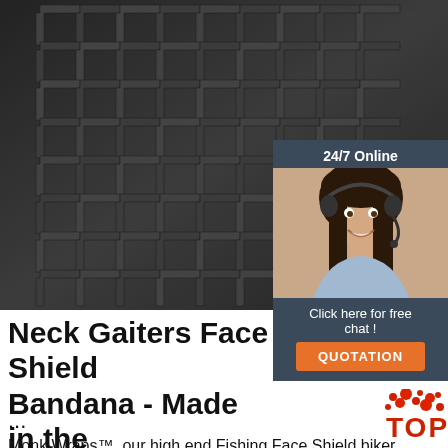[Figure (photo): Stacked steel angle iron bars arranged in a grid pattern, dark gray metallic appearance]
[Figure (infographic): 24/7 Online chat overlay with photo of woman wearing headset, 'Click here for free chat!' text and orange QUOTATION button]
Neck Gaiters Face Shield Bandana - Made in the ...
...
Monk Wraps™, our high end Fishing Face Shield biker bandanas camo bandanas and Head Wear are made from superior quality 4.1 oz spun Performance Polyester, hemmed, seamless on